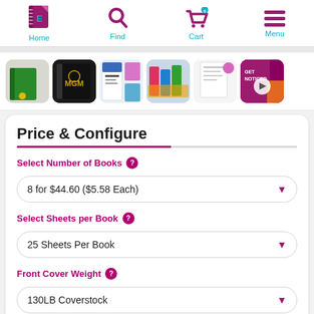Home | Find | Cart | Menu
[Figure (screenshot): Thumbnail image strip showing 6 product preview images including notebooks and a video thumbnail]
Price & Configure
Select Number of Books
8 for $44.60 ($5.58 Each)
Select Sheets per Book
25 Sheets Per Book
Front Cover Weight
130LB Coverstock